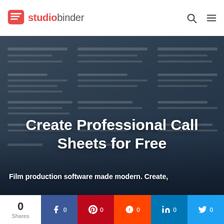studiobinder
[Figure (screenshot): Dark overlay screenshot of a call sheet document with white text lines visible in the background]
Create Professional Call Sheets for Free
Film production software made modern. Create,
0 Shares | f 0 | p 0 | reddit 0 | in 0 | twitter 0